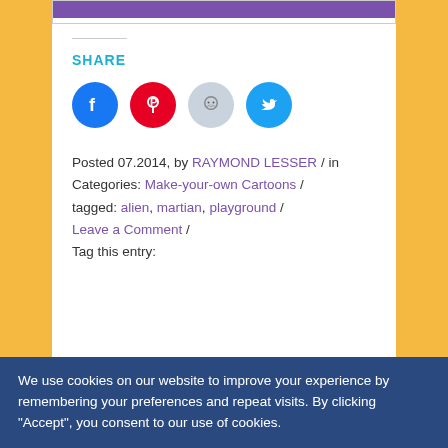[Figure (screenshot): Purple navigation bar at top of white content area]
SHARE
[Figure (infographic): Social share icons: Facebook (blue circle), Pinterest (red circle), Reddit (light blue circle), Twitter (teal circle)]
Posted 07.2014, by RAYMOND LESSER / in Categories: Make-your-own Cartoons / tagged: alien, martian, playground / Leave a Comment / Tag this entry:
RESOLUTION CONTEST
We use cookies on our website to improve your experience by remembering your preferences and repeat visits. By clicking "Accept", you consent to our use of cookies.